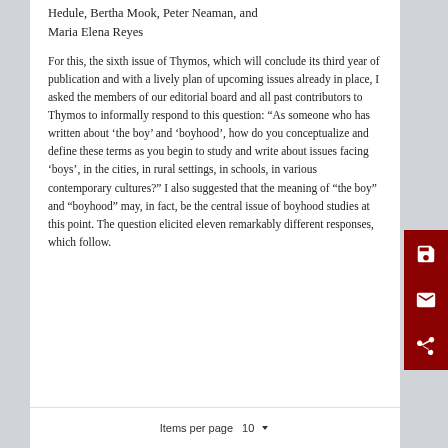Hedule, Bertha Mook, Peter Neaman, and Maria Elena Reyes
For this, the sixth issue of Thymos, which will conclude its third year of publication and with a lively plan of upcoming issues already in place, I asked the members of our editorial board and all past contributors to Thymos to informally respond to this question: “As someone who has written about ‘the boy’ and ‘boyhood’, how do you conceptualize and define these terms as you begin to study and write about issues facing ‘boys’, in the cities, in rural settings, in schools, in various contemporary cultures?” I also suggested that the meaning of “the boy” and “boyhood” may, in fact, be the central issue of boyhood studies at this point. The question elicited eleven remarkably different responses, which follow.
Items per page 10